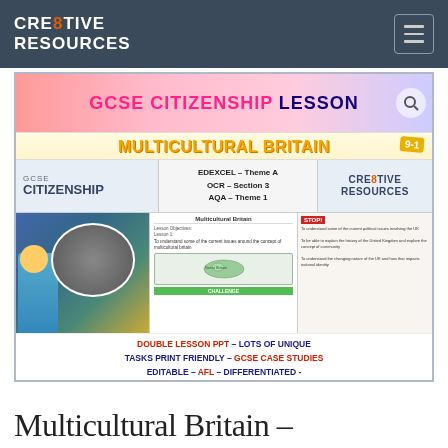CRE8TIVE RESOURCES
[Figure (screenshot): Product preview image for GCSE Citizenship Lesson on Multicultural Britain. Shows lesson materials including PowerPoint slides with GCSE Citizenship branding, exam board info (EDEXCEL Theme A, OCR Section 3, AQA Theme 1), CRE8TIVE RESOURCES logo, student activity photos, lesson slides showing Multicultural Britain content, and feature text: DOUBLE LESSON PPT – LOTS OF UNIQUE TASKS PRINT FRIENDLY – GCSE CASE STUDIES EDITABLE – AFL – DIFFERENTIATED – HANDOUTS]
Multicultural Britain –